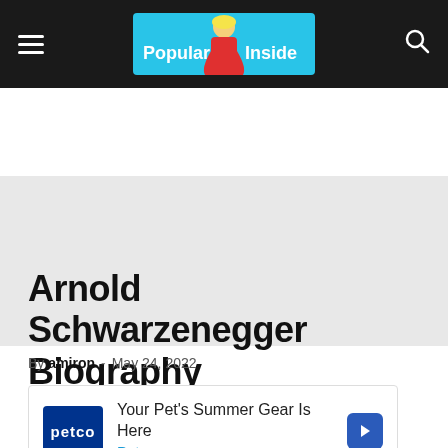Popular Inside
[Figure (illustration): Gray advertisement banner placeholder area]
Arnold Schwarzenegger Biography
By amiron - May 24, 2022
[Figure (infographic): Advertisement box: Petco logo with text 'Your Pet's Summer Gear Is Here' and 'Petco' subtitle, navigation arrow button, and ad control icons (play and close)]